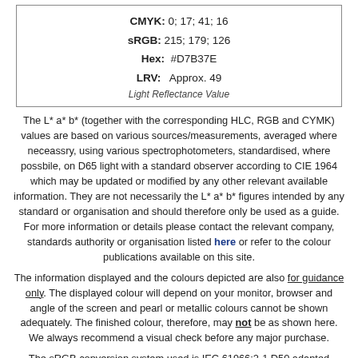| CMYK: | 0; 17; 41; 16 |
| sRGB: | 215; 179; 126 |
| Hex: | #D7B37E |
| LRV: | Approx. 49 |
|  | Light Reflectance Value |
The L* a* b* (together with the corresponding HLC, RGB and CYMK) values are based on various sources/measurements, averaged where neceassry, using various spectrophotometers, standardised, where possbile, on D65 light with a standard observer according to CIE 1964 which may be updated or modified by any other relevant available information. They are not necessarily the L* a* b* figures intended by any standard or organisation and should therefore only be used as a guide. For more information or details please contact the relevant company, standards authority or organisation listed here or refer to the colour publications available on this site.
The information displayed and the colours depicted are also for guidance only. The displayed colour will depend on your monitor, browser and angle of the screen and pearl or metallic colours cannot be shown adequately. The finished colour, therefore, may not be as shown here. We always recommend a visual check before any major purchase.
The sRGB conversion system used is IEC 61966:2-1 D50 adapted